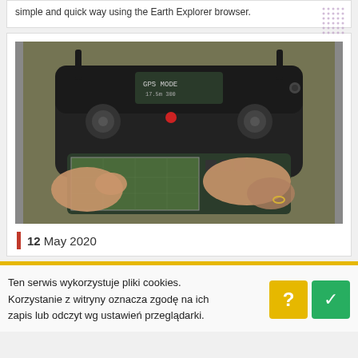simple and quick way using the Earth Explorer browser.
[Figure (photo): Hands holding a DJI drone remote controller with a screen showing GPS MODE and a map view]
12 May 2020
Ten serwis wykorzystuje pliki cookies. Korzystanie z witryny oznacza zgodę na ich zapis lub odczyt wg ustawień przeglądarki.